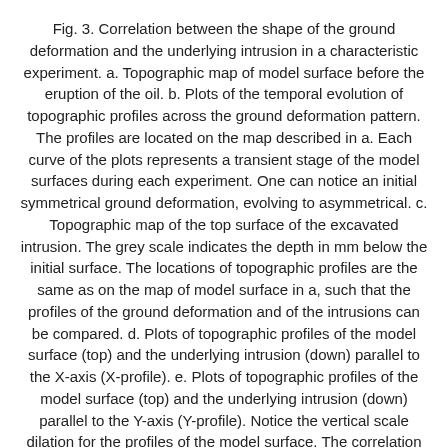Fig. 3. Correlation between the shape of the ground deformation and the underlying intrusion in a characteristic experiment. a. Topographic map of model surface before the eruption of the oil. b. Plots of the temporal evolution of topographic profiles across the ground deformation pattern. The profiles are located on the map described in a. Each curve of the plots represents a transient stage of the model surfaces during each experiment. One can notice an initial symmetrical ground deformation, evolving to asymmetrical. c. Topographic map of the top surface of the excavated intrusion. The grey scale indicates the depth in mm below the initial surface. The locations of topographic profiles are the same as on the map of model surface in a, such that the profiles of the ground deformation and of the intrusions can be compared. d. Plots of topographic profiles of the model surface (top) and the underlying intrusion (down) parallel to the X-axis (X-profile). e. Plots of topographic profiles of the model surface (top) and the underlying intrusion (down) parallel to the Y-axis (Y-profile). Notice the vertical scale dilation for the profiles of the model surface. The correlation between e and d show that the ground deformation pattern reflects the shape of the underlying intrusion. This suggests that the asymmetrical development of the ground deformation pattern can be analysed to predict where the magma rises towards the surface.